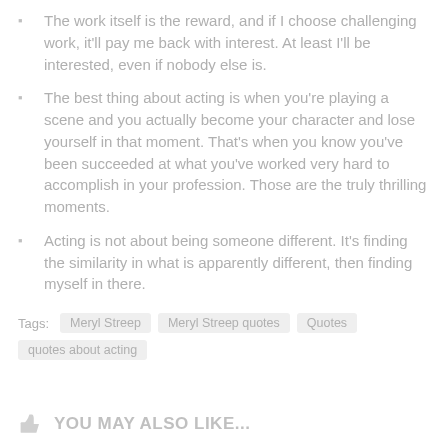The work itself is the reward, and if I choose challenging work, it'll pay me back with interest. At least I'll be interested, even if nobody else is.
The best thing about acting is when you're playing a scene and you actually become your character and lose yourself in that moment. That's when you know you've been succeeded at what you've worked very hard to accomplish in your profession. Those are the truly thrilling moments.
Acting is not about being someone different. It's finding the similarity in what is apparently different, then finding myself in there.
Tags: Meryl Streep   Meryl Streep quotes   Quotes   quotes about acting
YOU MAY ALSO LIKE...